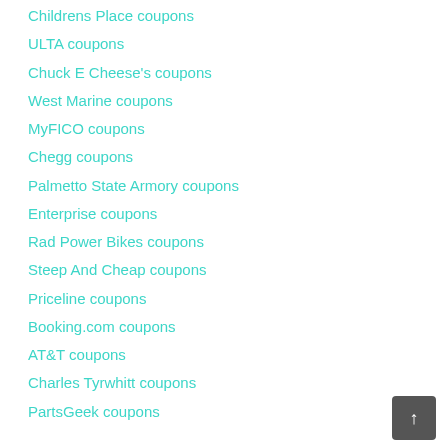Childrens Place coupons
ULTA coupons
Chuck E Cheese's coupons
West Marine coupons
MyFICO coupons
Chegg coupons
Palmetto State Armory coupons
Enterprise coupons
Rad Power Bikes coupons
Steep And Cheap coupons
Priceline coupons
Booking.com coupons
AT&T coupons
Charles Tyrwhitt coupons
PartsGeek coupons